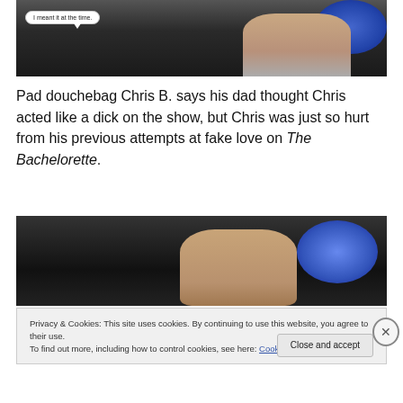[Figure (photo): A man in a dark suit with a speech bubble that reads 'I meant it at the time.' Blue blurred background.]
Pad douchebag Chris B. says his dad thought Chris acted like a dick on the show, but Chris was just so hurt from his previous attempts at fake love on The Bachelorette.
[Figure (photo): A man with brown hair, blurred colorful background with blue and purple lights.]
Privacy & Cookies: This site uses cookies. By continuing to use this website, you agree to their use.
To find out more, including how to control cookies, see here: Cookie Policy
Close and accept